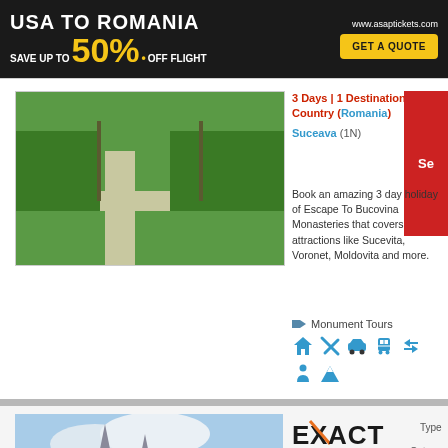[Figure (other): Advertisement banner: USA TO ROMANIA SAVE UP TO 50% OFF FLIGHT with GET A QUOTE button, www.asaptickets.com]
[Figure (photo): Green garden/park path photo for Bucovina Monasteries tour]
3 Days | 1 Destination | 1 Country (Romania)
Suceava (1N)
Book an amazing 3 day holiday of Escape To Bucovina Monasteries that covers attractions like Sucevita, Voronet, Moldovita and more.
Monument Tours
[Figure (photo): Castle/church with spires against blue sky - Transylvania]
[Figure (logo): EXACT TRAVEL CLUB logo with orange X accent]
Discover Transylvania Tour
Type
Category
From